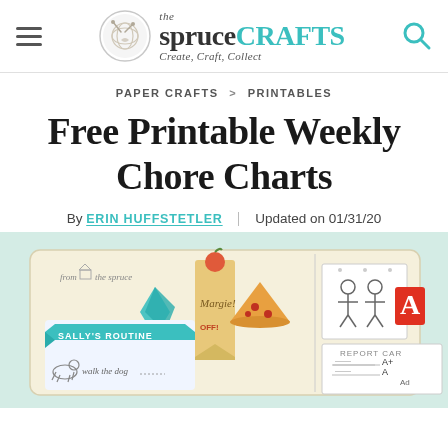the spruce CRAFTS — Create, Craft, Collect
PAPER CRAFTS > PRINTABLES
Free Printable Weekly Chore Charts
By ERIN HUFFSTETLER | Updated on 01/31/20
[Figure (illustration): Illustrated image showing colorful chore chart printables including Sally's Routine with a dog illustration, bookmarks, stickers, pizza slice, a child stick figure drawing, and a report card. Background is light mint green.]